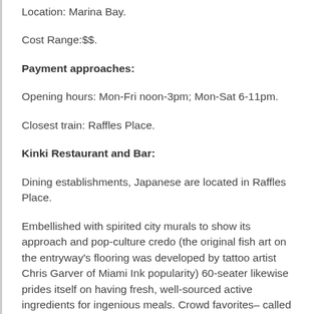Location: Marina Bay.
Cost Range:$$.
Payment approaches:
Opening hours: Mon-Fri noon-3pm; Mon-Sat 6-11pm.
Closest train: Raffles Place.
Kinki Restaurant and Bar:
Dining establishments, Japanese are located in Raffles Place.
Embellished with spirited city murals to show its approach and pop-culture credo (the original fish art on the entryway's flooring was developed by tattoo artist Chris Garver of Miami Ink popularity) 60-seater likewise prides itself on having fresh, well-sourced active ingredients for ingenious meals. Crowd favorites– called Ninja's favorites here– consist of sea bream carpaccio ($ 34), foie gras and unagi maki ($ 32) and seafood and bacon-loaded okonomiyaki ($ 28). Kinki likewise